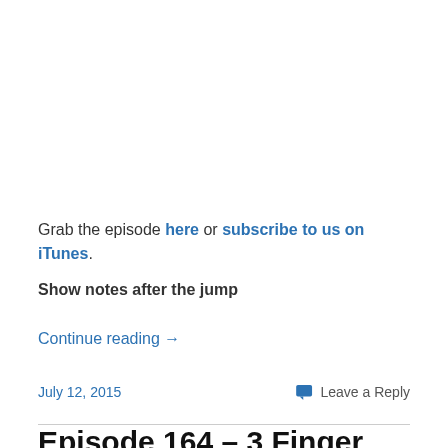Grab the episode here or subscribe to us on iTunes.
Show notes after the jump
Continue reading →
July 12, 2015
Leave a Reply
Episode 164 – 3 Finger Warm Up